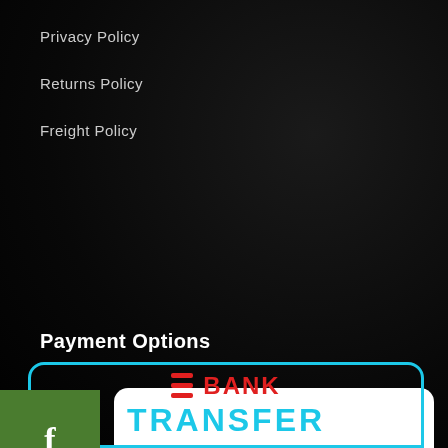Privacy Policy
Returns Policy
Freight Policy
Payment Options
[Figure (logo): Square payment logo with card icons: Visa, Mastercard, American Express, Discover]
[Figure (logo): Bank Transfer logo with red lines and cyan text]
[Figure (infographic): Facebook social button (green square with f icon)]
[Figure (infographic): Instagram social button (green square with Instagram icon)]
[Figure (infographic): Scroll to top button (green rounded square with up arrow) and shopping cart with 0 badge]